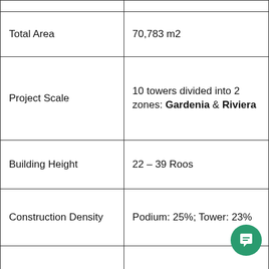| Property | Value |
| --- | --- |
| Total Area | 70,783 m2 |
| Project Scale | 10 towers divided into 2 zones: Gardenia & Riviera |
| Building Height | 22 – 39 Roos |
| Construction Density | Podium: 25%; Tower: 23% |
| Told Landscape Area | 39.209 m2 |
| Total Units | 5.094 units |
| Expected to Hand- | Q4/2023 |